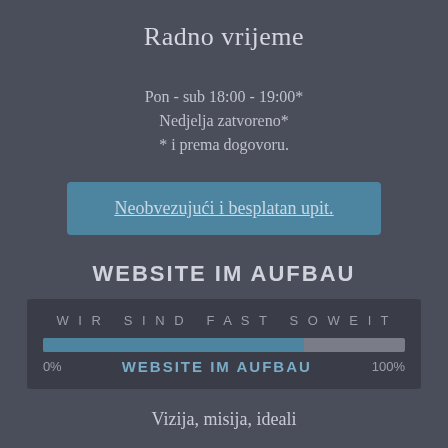Radno vrijeme
Pon - sub 18:00 - 19:00*
Nedjelja zatvoreno*
* i prema dogovoru.
Neobvezujući i besplatan upit.
WEBSITE IM AUFBAU
[Figure (infographic): Progress bar showing website build status. Label 'WIR SIND FAST SOWEIT' above. Bar filled approximately 72% in blue, remainder grey. Labels: 0% on left, WEBSITE IM AUFBAU in center, 100% on right.]
Vizija, misija, ideali